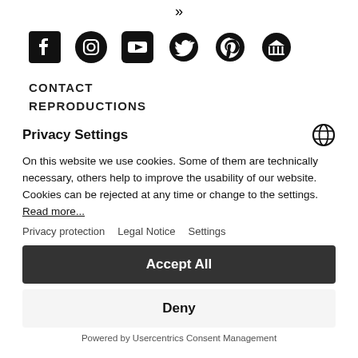»
[Figure (illustration): Row of social media icons: Facebook, Instagram, YouTube, Twitter, Pinterest, and a museum/institution icon]
CONTACT
REPRODUCTIONS
Privacy Settings
On this website we use cookies. Some of them are technically necessary, others help to improve the usability of our website. Cookies can be rejected at any time or change to the settings. Read more...
Privacy protection   Legal Notice   Settings
Accept All
Deny
Powered by Usercentrics Consent Management